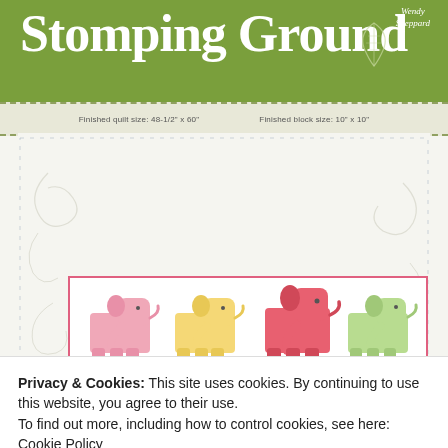[Figure (illustration): Stomping Ground quilt pattern cover showing colorful elephant quilt blocks arranged in a grid on a white quilt with pink border, set against a swirling cream background. Header is olive green with large white serif title text 'Stomping Ground' and author name 'Wendy Sheppard' with leaf illustration.]
Finished quilt size: 48-1/2" x 60"    Finished block size: 10" x 10"
W514
Privacy & Cookies: This site uses cookies. By continuing to use this website, you agree to their use.
To find out more, including how to control cookies, see here: Cookie Policy
Close and accept